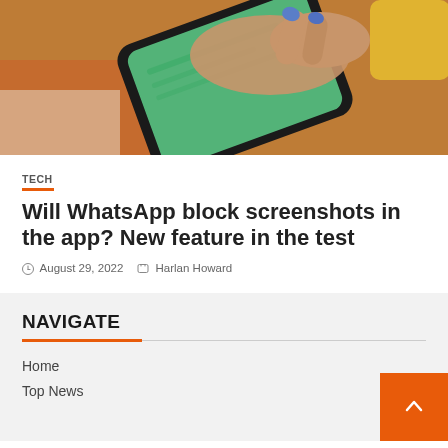[Figure (photo): Person with blue nail polish typing on a smartphone, orange background, close-up of hands holding phone]
TECH
Will WhatsApp block screenshots in the app? New feature in the test
August 29, 2022   Harlan Howard
NAVIGATE
Home
Top News